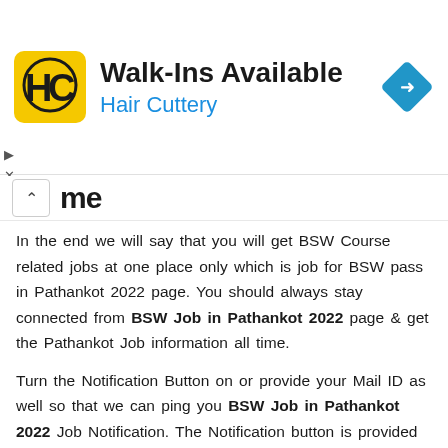[Figure (other): Hair Cuttery advertisement banner with yellow logo, 'Walk-Ins Available' heading, 'Hair Cuttery' subtitle in blue, and a blue diamond navigation icon on the right.]
me
In the end we will say that you will get BSW Course related jobs at one place only which is job for BSW pass in Pathankot 2022 page. You should always stay connected from BSW Job in Pathankot 2022 page & get the Pathankot Job information all time.
Turn the Notification Button on or provide your Mail ID as well so that we can ping you BSW Job in Pathankot 2022 Job Notification. The Notification button is provided on below of job in Pathankot for BSW pass page.